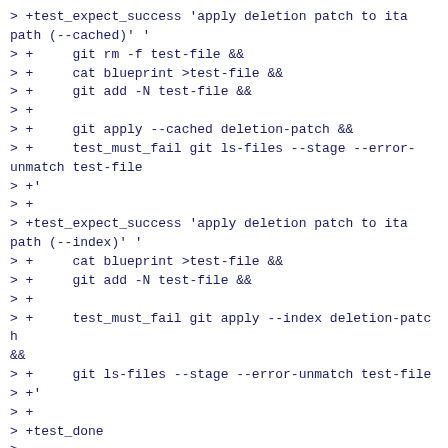> +test_expect_success 'apply deletion patch to ita path (--cached)' '
> +	    git rm -f test-file &&
> +	    cat blueprint >test-file &&
> +	    git add -N test-file &&
> +
> +	    git apply --cached deletion-patch &&
> +	    test_must_fail git ls-files --stage --error-unmatch test-file
> +'
> +
> +test_expect_success 'apply deletion patch to ita path (--index)' '
> +	    cat blueprint >test-file &&
> +	    git add -N test-file &&
> +
> +	    test_must_fail git apply --index deletion-patch &&
> +	    git ls-files --stage --error-unmatch test-file
> +'
> +
> +test_done
>
^ permalink raw reply  [flat|nested] 53+ messages in thread
end of thread, other threads:[~2020-08-23 15:58 UTC | newest]